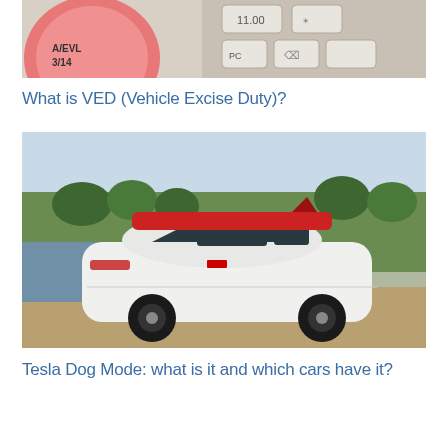[Figure (photo): Close-up photo of a vehicle tax disc showing 'A/EVL 3/14' and a keyboard in the background with keys including PC and arrows]
What is VED (Vehicle Excise Duty)?
[Figure (photo): White Tesla Model Y SUV with a red kayak/surfboard on roof rack, parked on dirt road with green forest hills and river in background]
Tesla Dog Mode: what is it and which cars have it?